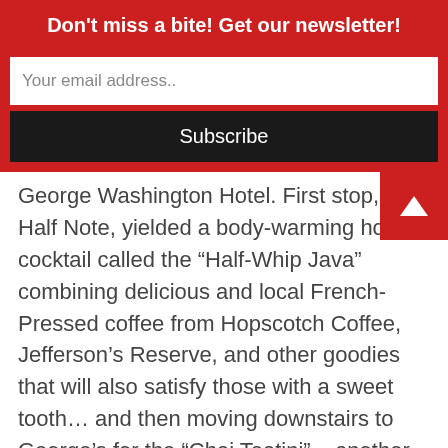Don't miss a bite! Get our newsletter!
Your email address..
Subscribe
George Washington Hotel.  First stop, the Half Note, yielded a body-warming hot cocktail called the “Half-Whip Java” combining delicious and local French-Pressed coffee from Hopscotch Coffee, Jefferson’s Reserve, and other goodies that will also satisfy those with a sweet tooth… and then moving downstairs to George’s for the “Chai Teatini” – another wonderful cocktail (that Misty will have to try as a Chai Tea fan).
Misty visited Crush Wine Bar for their stunning Autumn Bonfire that some patrons described